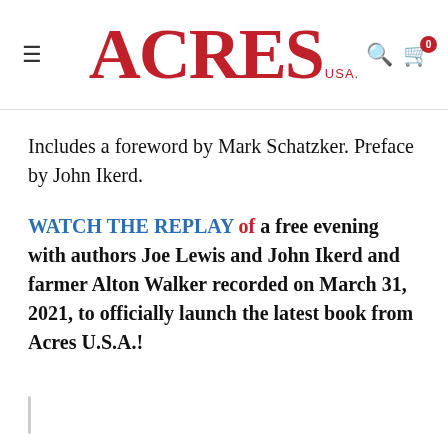ACRES USA
Includes a foreword by Mark Schatzker. Preface by John Ikerd.
WATCH THE REPLAY of a free evening with authors Joe Lewis and John Ikerd and farmer Alton Walker recorded on March 31, 2021, to officially launch the latest book from Acres U.S.A.!